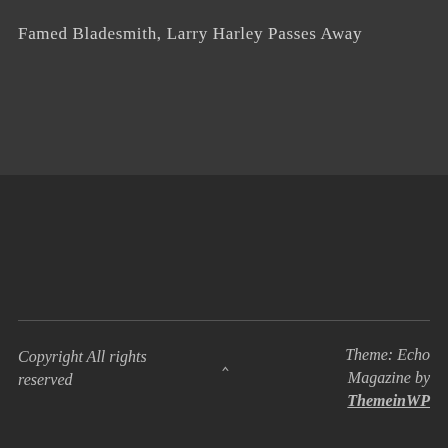Famed Bladesmith, Larry Harley Passes Away
Copyright All rights reserved   ^   Theme: Echo Magazine by ThemeinWP